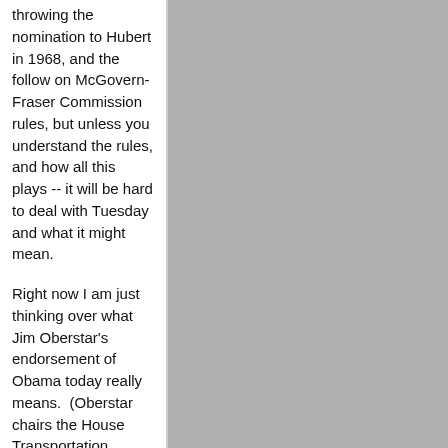throwing the nomination to Hubert in 1968, and the follow on McGovern-Fraser Commission rules, but unless you understand the rules, and how all this plays -- it will be hard to deal with Tuesday and what it might mean.
Right now I am just thinking over what Jim Oberstar's endorsement of Obama today really means.  (Oberstar chairs the House Transportation Committee,) represents Duluth